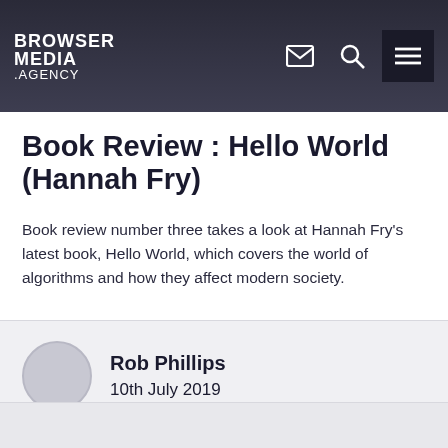BROWSER MEDIA .AGENCY
Book Review : Hello World (Hannah Fry)
Book review number three takes a look at Hannah Fry's latest book, Hello World, which covers the world of algorithms and how they affect modern society.
Rob Phillips
10th July 2019